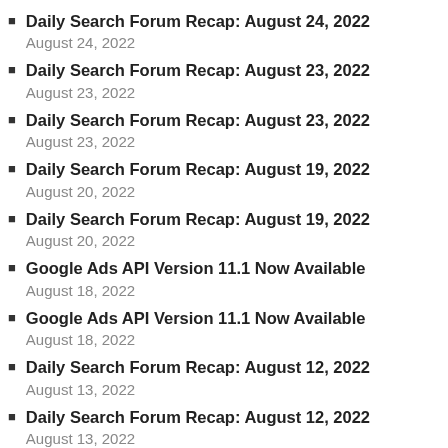Daily Search Forum Recap: August 24, 2022
August 24, 2022
Daily Search Forum Recap: August 23, 2022
August 23, 2022
Daily Search Forum Recap: August 23, 2022
August 23, 2022
Daily Search Forum Recap: August 19, 2022
August 20, 2022
Daily Search Forum Recap: August 19, 2022
August 20, 2022
Google Ads API Version 11.1 Now Available
August 18, 2022
Google Ads API Version 11.1 Now Available
August 18, 2022
Daily Search Forum Recap: August 12, 2022
August 13, 2022
Daily Search Forum Recap: August 12, 2022
August 13, 2022
Daily Search Forum Recap: August 5, 2022
August 6, 2022